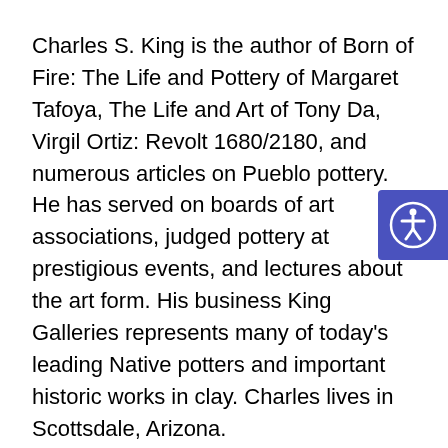Charles S. King is the author of Born of Fire: The Life and Pottery of Margaret Tafoya, The Life and Art of Tony Da, Virgil Ortiz: Revolt 1680/2180, and numerous articles on Pueblo pottery. He has served on boards of art associations, judged pottery at prestigious events, and lectures about the art form. His business King Galleries represents many of today's leading Native potters and important historic works in clay. Charles lives in Scottsdale, Arizona.
Eric S. Dobkin was a long serving partner and managing director of Goldman Sachs